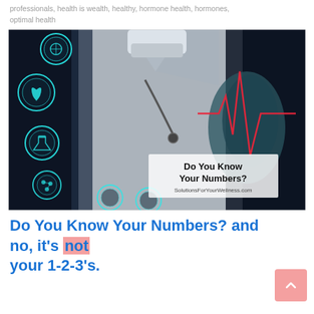professionals, health is wealth, healthy, hormone health, hormones, optimal health
[Figure (photo): A doctor in white coat wearing a surgical mask, with glowing teal circular medical icons floating on the left side, and a red heartbeat/ECG line on the right. Text overlay reads 'Do You Know Your Numbers?' and 'SolutionsForYourWellness.com']
Do You Know Your Numbers? and no, it's not your 1-2-3's.